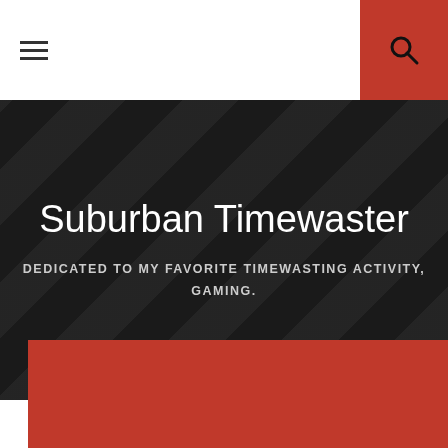≡
🔍
Suburban Timewaster
DEDICATED TO MY FAVORITE TIMEWASTING ACTIVITY, GAMING.
[Figure (photo): Large red-orange gaming image placeholder below the hero banner]